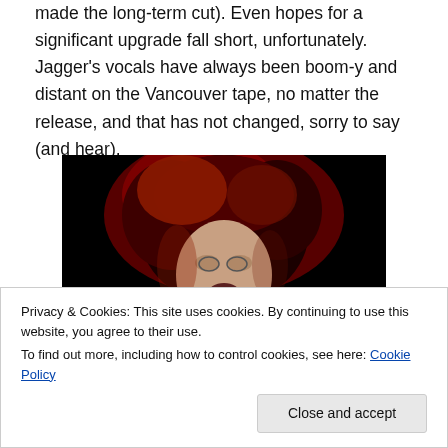made the long-term cut). Even hopes for a significant upgrade fall short, unfortunately. Jagger's vocals have always been boom-y and distant on the Vancouver tape, no matter the release, and that has not changed, sorry to say (and hear).
[Figure (photo): Concert photo of Mick Jagger performing, lit with red lighting on dark background, dark curly hair, mouth open singing.]
Privacy & Cookies: This site uses cookies. By continuing to use this website, you agree to their use. To find out more, including how to control cookies, see here: Cookie Policy